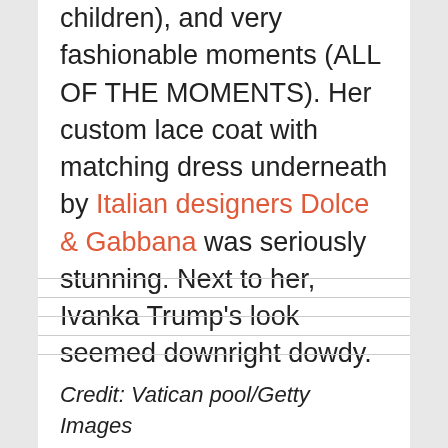children), and very fashionable moments (ALL OF THE MOMENTS). Her custom lace coat with matching dress underneath by Italian designers Dolce & Gabbana was seriously stunning. Next to her, Ivanka Trump's look seemed downright dowdy.
Credit: Vatican pool/Getty Images